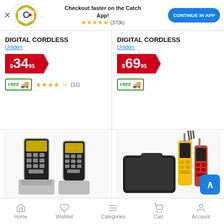[Figure (screenshot): Catch app banner with logo, 'Checkout faster on the Catch App!' text, 5-star rating (370k reviews), and CONTINUE IN APP button]
DIGITAL CORDLESS
Uniden
$34.95
FREE shipping
★★★★½ (11)
DIGITAL CORDLESS
Uniden
$69.95
FREE shipping
[Figure (photo): Two Uniden digital cordless phones, silver/black color]
[Figure (photo): Uniden walkie-talkie set with carrying case and accessories]
Home  Wishlist  Categories  Cart  Account